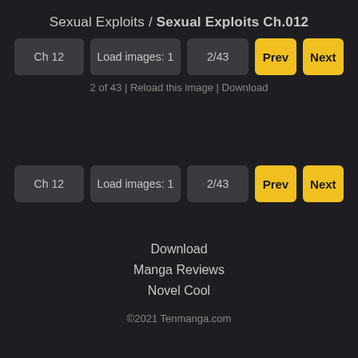Sexual Exploits / Sexual Exploits Ch.012
[Figure (screenshot): Top navigation bar with buttons: Ch 12, Load images: 1, 2/43, Prev, Next]
2 of 43 | Reload this image | Download
[Figure (screenshot): Bottom navigation bar with buttons: Ch 12, Load images: 1, 2/43, Prev, Next]
Download
Manga Reviews
Novel Cool
©2021 Tenmanga.com